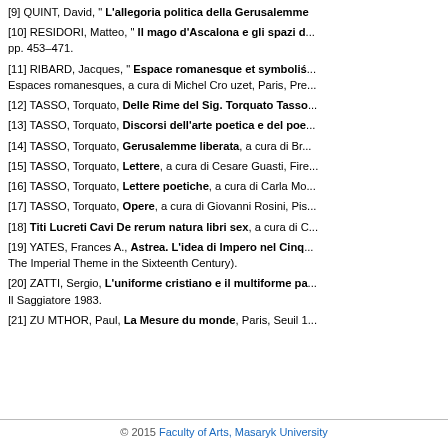[9] QUINT, David, " L'allegoria politica della Gerusalemme
[10] RESIDORI, Matteo, " Il mago d'Ascalona e gli spazi d... pp. 453–471.
[11] RIBARD, Jacques, " Espace romanesque et symbolis... Espaces romanesques, a cura di Michel Cro uzet, Paris, Pre...
[12] TASSO, Torquato, Delle Rime del Sig. Torquato Tasso
[13] TASSO, Torquato, Discorsi dell'arte poetica e del poe...
[14] TASSO, Torquato, Gerusalemme liberata, a cura di Br...
[15] TASSO, Torquato, Lettere, a cura di Cesare Guasti, Fire...
[16] TASSO, Torquato, Lettere poetiche, a cura di Carla Mo...
[17] TASSO, Torquato, Opere, a cura di Giovanni Rosini, Pis...
[18] Titi Lucreti Cavi De rerum natura libri sex, a cura di C...
[19] YATES, Frances A., Astrea. L'idea di Impero nel Cinq... The Imperial Theme in the Sixteenth Century).
[20] ZATTI, Sergio, L'uniforme cristiano e il multiforme pa... Il Saggiatore 1983.
[21] ZU MTHOR, Paul, La Mesure du monde, Paris, Seuil 1...
© 2015 Faculty of Arts, Masaryk University